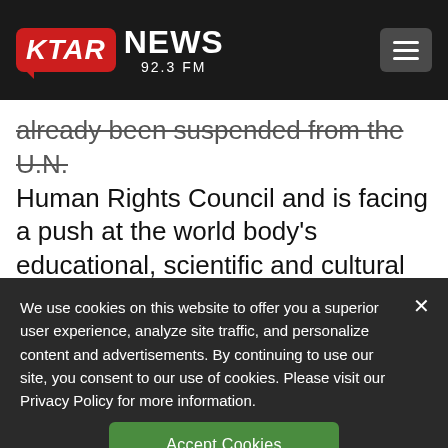[Figure (logo): KTAR NEWS 92.3 FM logo on black header bar with hamburger menu button]
already been suspended from the U.N. Human Rights Council and is facing a push at the world body's educational, scientific and cultural organization to strip it of its UNESCO presidency and bar it from hosting a June meeting of its World Heritage
We use cookies on this website to offer you a superior user experience, analyze site traffic, and personalize content and advertisements. By continuing to use our site, you consent to our use of cookies. Please visit our Privacy Policy for more information.
Accept Cookies